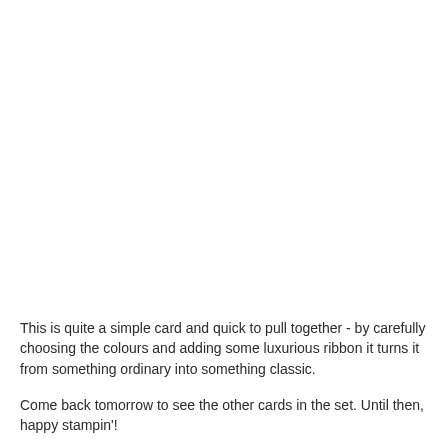This is quite a simple card and quick to pull together - by carefully choosing the colours and adding some luxurious ribbon it turns it from something ordinary into something classic.
Come back tomorrow to see the other cards in the set. Until then, happy stampin'!